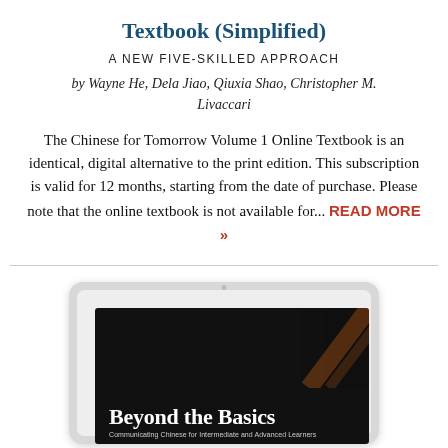Textbook (Simplified)
A NEW FIVE-SKILLED APPROACH
by Wayne He, Dela Jiao, Qiuxia Shao, Christopher M. Livaccari
The Chinese for Tomorrow Volume 1 Online Textbook is an identical, digital alternative to the print edition. This subscription is valid for 12 months, starting from the date of purchase. Please note that the online textbook is not available for... READ MORE »
[Figure (photo): A tablet device displaying the cover of a book titled 'Beyond the Basics: Communicating Chinese for Intermediate and Advanced Learners' against a dark background with decorative diagonal design elements.]